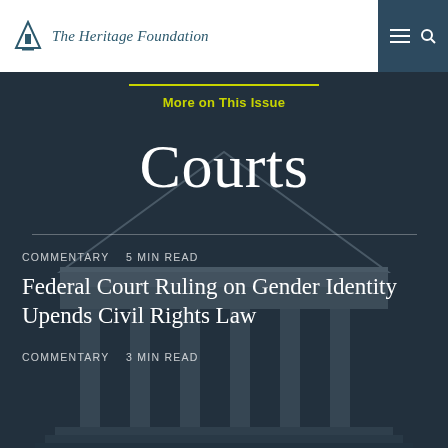The Heritage Foundation
More on This Issue
Courts
COMMENTARY  5 min read
Federal Court Ruling on Gender Identity Upends Civil Rights Law
COMMENTARY  3 min read